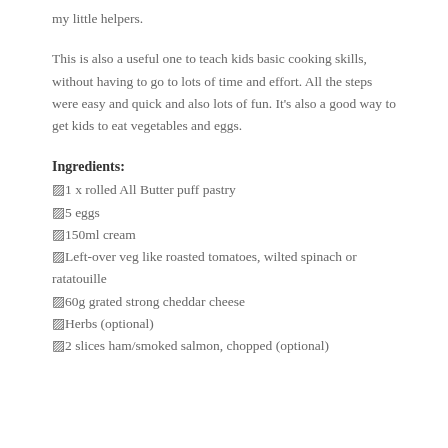my little helpers.
This is also a useful one to teach kids basic cooking skills, without having to go to lots of time and effort. All the steps were easy and quick and also lots of fun. It's also a good way to get kids to eat vegetables and eggs.
Ingredients:
▪1 x rolled All Butter puff pastry
▪5 eggs
▪150ml cream
▪Left-over veg like roasted tomatoes, wilted spinach or ratatouille
▪60g grated strong cheddar cheese
▪Herbs (optional)
▪2 slices ham/smoked salmon, chopped (optional)